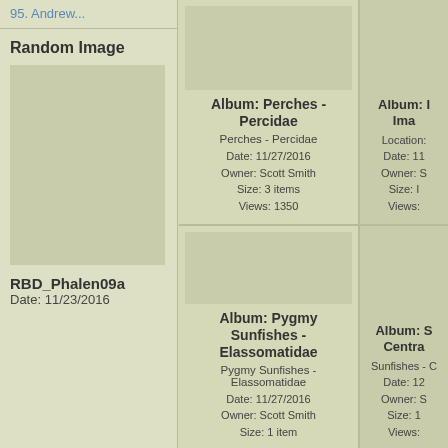95. Andrew...
Random Image
RBD_Phalen09a
Date: 11/23/2016
Album: Perches - Percidae
Perches - Percidae
Date: 11/27/2016
Owner: Scott Smith
Size: 3 items
Views: 1350
Album: Ima...
Location:
Date: 11...
Owner: S...
Size: ...
Views: ...
Album: Pygmy Sunfishes - Elassomatidae
Pygmy Sunfishes - Elassomatidae
Date: 11/27/2016
Owner: Scott Smith
Size: 1 item
Album: S Centra...
Sunfishes - C...
Date: 12...
Owner: S...
Size: 1...
Views: ...